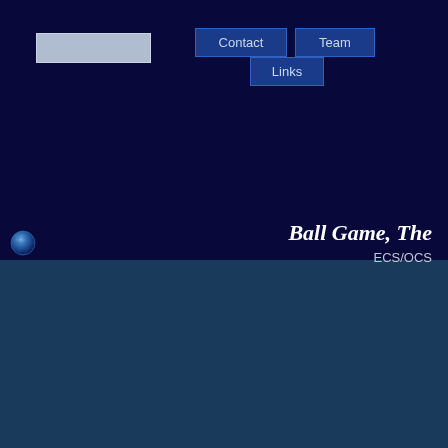[Figure (logo): Light gray rectangular logo bar placeholder in top-left navigation area]
Contact   Team   Links
Ball Game, The
ECS/OCS